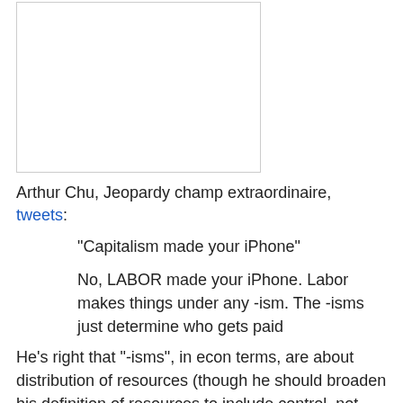[Figure (other): White rectangular image placeholder with a thin border]
Arthur Chu, Jeopardy champ extraordinaire, tweets:
"Capitalism made your iPhone"
No, LABOR made your iPhone. Labor makes things under any -ism. The -isms just determine who gets paid
He's right that "-isms", in econ terms, are about distribution of resources (though he should broaden his definition of resources to include control, not just payment).
But is he right that "labor made your iPhone"?
Consider the following two situations:
A) I make fire by rubbing two sticks together.